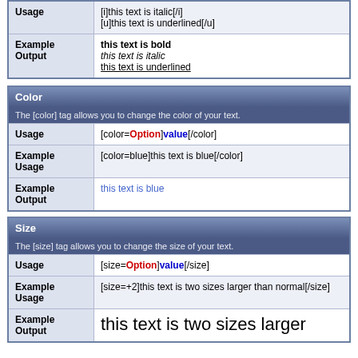|  |  |
| --- | --- |
| Usage | [i]this text is italic[/i]
[u]this text is underlined[/u] |
| Example Output | this text is bold
this text is italic
this text is underlined |
| Color |  |
| --- | --- |
|  | The [color] tag allows you to change the color of your text. |
| Usage | [color=Option]value[/color] |
| Example Usage | [color=blue]this text is blue[/color] |
| Example Output | this text is blue |
| Size |  |
| --- | --- |
|  | The [size] tag allows you to change the size of your text. |
| Usage | [size=Option]value[/size] |
| Example Usage | [size=+2]this text is two sizes larger than normal[/size] |
| Example Output | this text is two sizes larger |